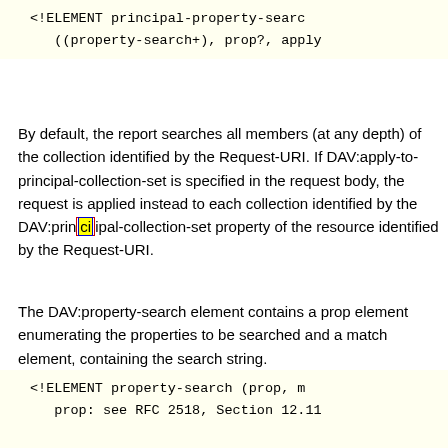<!ELEMENT principal-property-search ((property-search+), prop?, apply
By default, the report searches all members (at any depth) of the collection identified by the Request-URI. If DAV:apply-to-principal-collection-set is specified in the request body, the request is applied instead to each collection identified by the DAV:principal-collection-set property of the resource identified by the Request-URI.
The DAV:property-search element contains a prop element enumerating the properties to be searched and a match element, containing the search string.
<!ELEMENT property-search (prop, m
prop: see RFC 2518, Section 12.11

<!ELEMENT match #PCDATA >